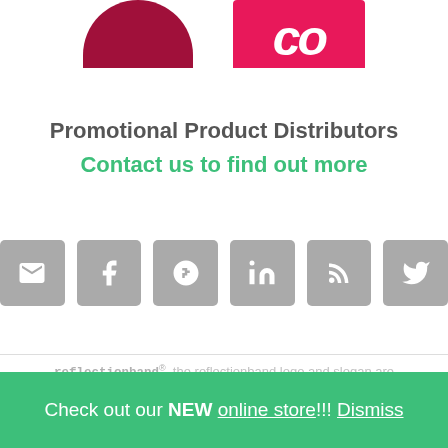[Figure (logo): Two partial logos at top: dark red semicircle shape on left, pink/hot-pink rounded rectangle with white italic letters 'co' on right]
Promotional Product Distributors
Contact us to find out more
[Figure (infographic): Row of six social media icon buttons in gray rounded squares: email/envelope, Facebook f, Google G+, LinkedIn in, RSS feed, Twitter bird]
reflectionband®, the reflectionband logo and slogan are trademarks of Reflection Band, llc. and are registered in the United States and abroad.
Check out our NEW online store!!! Dismiss